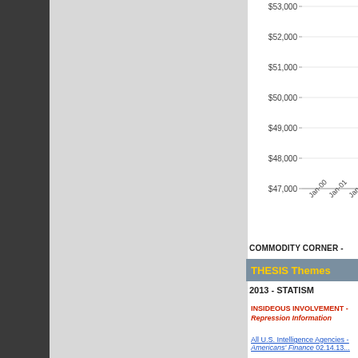[Figure (line-chart): Partial line chart showing price range from $47,000 to $53,000 with x-axis labels Jan-00, Jan-01, Jan-02]
COMMODITY CORNER - HARD
THESIS Themes
2013 - STATISM
INSIDEOUS INVOLVEMENT -
Repression Information
All U.S. Intelligence Agencies -
Americans' Finance...